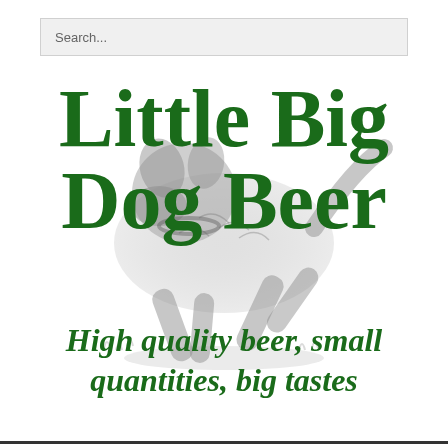Search...
Little Big Dog Beer
[Figure (photo): A grayscale photo of a shaggy dog mid-jump or running, overlaid behind the title text]
High quality beer, small quantities, big tastes